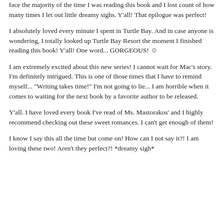face the majority of the time I was reading this book and I lost count of how many times I let out little dreamy sighs. Y'all! That epilogue was perfect!
I absolutely loved every minute I spent in Turtle Bay. And in case anyone is wondering, I totally looked up Turtle Bay Resort the moment I finished reading this book! Y'all! One word... GORGEOUS! ☺
I am extremely excited about this new series! I cannot wait for Mac's story. I'm definitely intrigued. This is one of those times that I have to remind myself... "Writing takes time!" I'm not going to lie... I am horrible when it comes to waiting for the next book by a favorite author to be released.
Y'all. I have loved every book I've read of Ms. Mastorakos' and I highly recommend checking out these sweet romances. I can't get enough of them!
I know I say this all the time but come on! How can I not say it?! I am loving these two! Aren't they perfect?! *dreamy sigh*